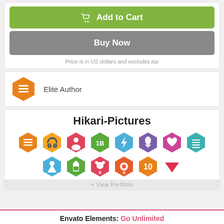[Figure (other): Add to Cart green button with shopping cart icon]
[Figure (other): Buy Now grey button]
Price is in US dollars and excludes tax
[Figure (other): Elite Author badge (orange hexagon with stacked lines icon)]
Elite Author
Hikari-Pictures
[Figure (other): Row of achievement badges: orange stacked lines, yellow headphones, red/pink group, green 1B, blue lightning bolt, purple rocket W, pink heart, teal list; second row: blue person triangle, green battery, red paw 8, red-orange gear 4, orange 10, red chevron down]
Envato Elements:
Go Unlimited